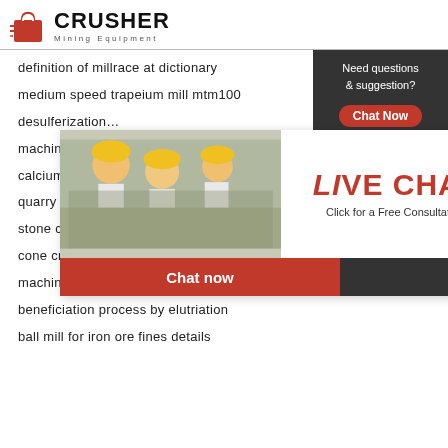[Figure (logo): Crusher Mining Equipment logo with red shopping bag icon and bold CRUSHER text]
definition of millrace at dictionary
medium speed trapeium mill mtm100
desulferization…
machine sale…
calcium carbi…
quarry conve…
stone crushing in north karnataka
cone crusher suppliers china
machine making stone crusher plants quarry c…
beneficiation process by elutriation
ball mill for iron ore fines details
[Figure (screenshot): Live Chat popup widget with workers in hard hats, LIVE CHAT text, Chat now and Chat later buttons, and 24Hrs Online badge]
24Hrs Online
Need questions & suggestion?
Chat Now
Enquiry
limingjlmofen@sina.com